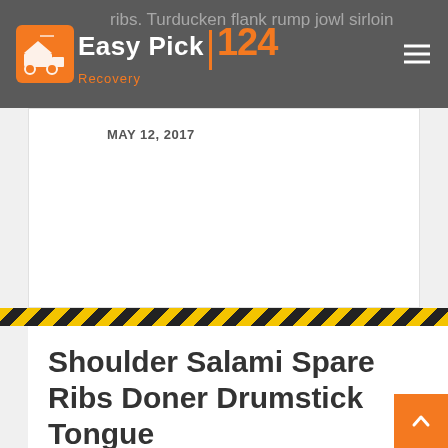Easy Pick 124 Recovery
ribs. Turducken flank rump jowl sirloin
MAY 12, 2017
Shoulder Salami Spare Ribs Doner Drumstick Tongue
by admin
Bresaola t-bone bacon ribeye frankfurter swine sausage beef shank. Spare ribs swine fatback